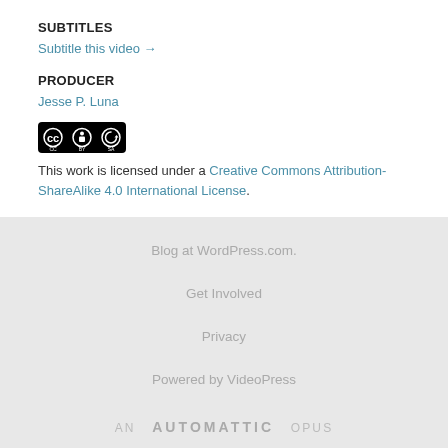SUBTITLES
Subtitle this video →
PRODUCER
Jesse P. Luna
[Figure (logo): Creative Commons BY-SA license badge with CC, person, and share-alike icons on black background]
This work is licensed under a Creative Commons Attribution-ShareAlike 4.0 International License.
Blog at WordPress.com.
Get Involved
Privacy
Powered by VideoPress
AN AUTOMATTIC OPUS